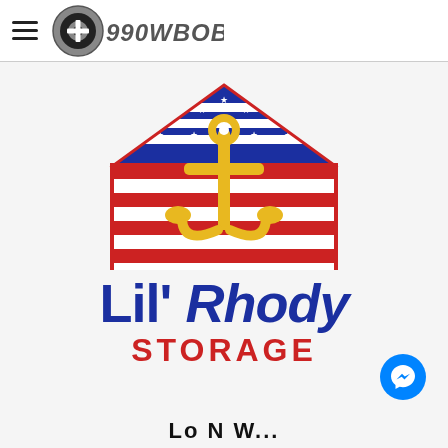990WBOB (radio station logo and hamburger menu)
[Figure (logo): Lil' Rhody Storage logo: a house/storage building shape with American flag stripes and stars in blue and red, with a large gold/yellow nautical anchor in the center. Below the house icon, bold blue text reads 'Lil' Rhody' in italic and red uppercase text reads 'STORAGE'.]
[Figure (logo): Facebook Messenger icon button (blue circle with white lightning-bolt chat icon) in bottom-right corner.]
Lo N W...  (partial text cut off at bottom)